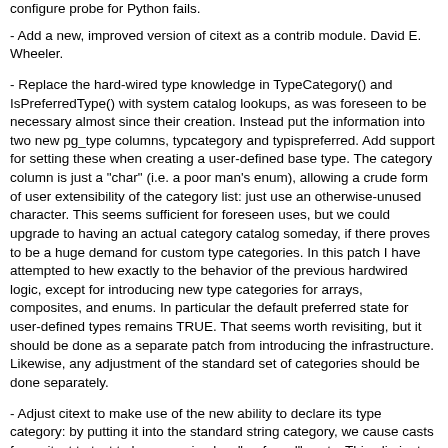configure probe for Python fails.
- Add a new, improved version of citext as a contrib module. David E. Wheeler.
- Replace the hard-wired type knowledge in TypeCategory() and IsPreferredType() with system catalog lookups, as was foreseen to be necessary almost since their creation. Instead put the information into two new pg_type columns, typcategory and typispreferred. Add support for setting these when creating a user-defined base type. The category column is just a "char" (i.e. a poor man's enum), allowing a crude form of user extensibility of the category list: just use an otherwise-unused character. This seems sufficient for foreseen uses, but we could upgrade to having an actual category catalog someday, if there proves to be a huge demand for custom type categories. In this patch I have attempted to hew exactly to the behavior of the previous hardwired logic, except for introducing new type categories for arrays, composites, and enums. In particular the default preferred state for user-defined types remains TRUE. That seems worth revisiting, but it should be done as a separate patch from introducing the infrastructure. Likewise, any adjustment of the standard set of categories should be done separately.
- Adjust citext to make use of the new ability to declare its type category: by putting it into the standard string category, we cause casts from citext to text to be recognized as "preferred" casts. This eliminates the need for creation of alias functions and operators that only serve to prevent ambiguous-function errors; get rid of the ones that were in the original commit.